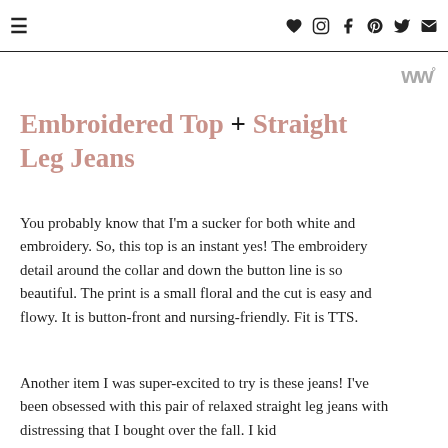≡ ♥ Instagram Facebook Pinterest Twitter Email
[Figure (logo): Blog logo mark — stylized 'w' with a degree symbol, in gray]
Embroidered Top + Straight Leg Jeans
You probably know that I'm a sucker for both white and embroidery. So, this top is an instant yes! The embroidery detail around the collar and down the button line is so beautiful. The print is a small floral and the cut is easy and flowy. It is button-front and nursing-friendly. Fit is TTS.
Another item I was super-excited to try is these jeans! I've been obsessed with this pair of relaxed straight leg jeans with distressing that I bought over the fall. I kid